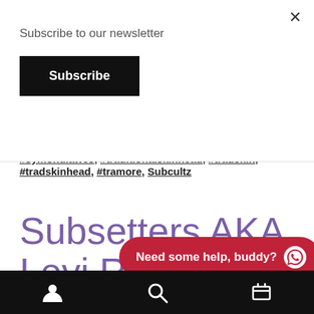Subscribe to our newsletter
Subscribe
#symondlawes, #traditionalskinhead, #tradskin, #tradskinhead, #tramore, Subcultz
Subsetters AKA Levi Residency @ The Fountain
[Figure (screenshot): Bottom navigation bar with user, search, and cart icons, and a WhatsApp help bubble reading 'Need some help, buddy?']